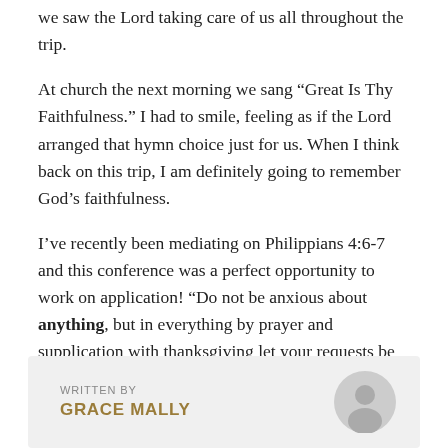we saw the Lord taking care of us all throughout the trip.
At church the next morning we sang “Great Is Thy Faithfulness.” I had to smile, feeling as if the Lord arranged that hymn choice just for us. When I think back on this trip, I am definitely going to remember God’s faithfulness.
I’ve recently been mediating on Philippians 4:6-7 and this conference was a perfect opportunity to work on application! “Do not be anxious about anything, but in everything by prayer and supplication with thanksgiving let your requests be made known to God. And the peace of God, which surpasses all understanding, will guard your hearts and your minds in Christ Jesus.”
WRITTEN BY
GRACE MALLY